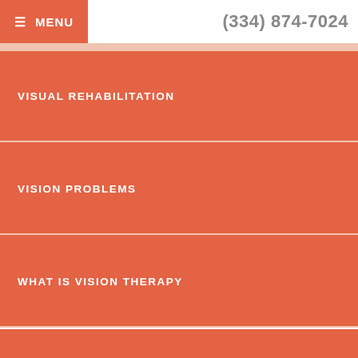≡ MENU   (334) 874-7024
VISUAL REHABILITATION
VISION PROBLEMS
WHAT IS VISION THERAPY
VISION THERAPY PROGRAMS
WE CAN HELP WITH >
NEWSLETTERS >
Co
Accessibility View ×